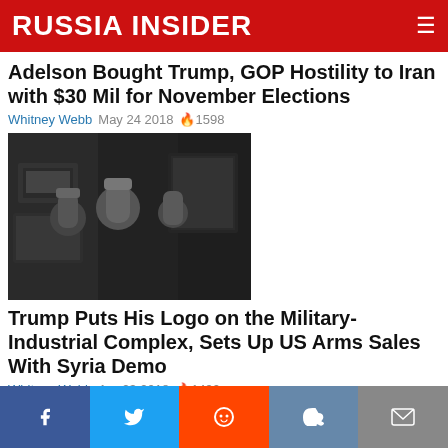RUSSIA INSIDER
Adelson Bought Trump, GOP Hostility to Iran with $30 Mil for November Elections
Whitney Webb   May 24 2018   🔥1598
[Figure (photo): Military personnel in dark setting with equipment, appears to be aboard a military vessel or facility]
Trump Puts His Logo on the Military-Industrial Complex, Sets Up US Arms Sales With Syria Demo
Whitney Webb   Apr 23 2018   🔥1490
[Figure (photo): Partial image visible at bottom of page]
Facebook  Twitter  Reddit  VK  Email